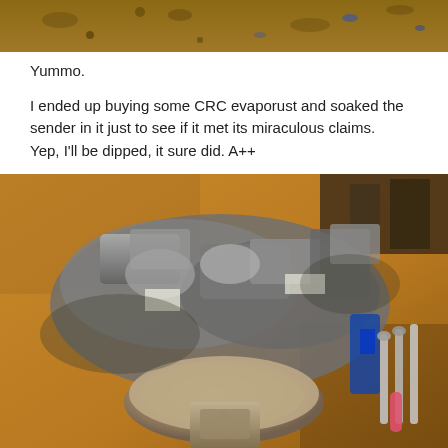[Figure (photo): Top portion of a photo showing a rusty/corroded metal surface with a wooden or dirty background, appears to be a cropped bottom of an image from above.]
Yummo.
I ended up buying some CRC evaporust and soaked the sender in it just to see if it met its miraculous claims.
Yep, I'll be dipped, it sure did. A++
[Figure (photo): Photo of a workbench or garage floor with various old, greasy, and corroded metal engine parts and carburetor components piled together, along with tools including wrenches and other hand tools. In the foreground is a close-up of what appears to be a fuel sender unit or similar round metal part, now clean after treatment with Evaporust.]